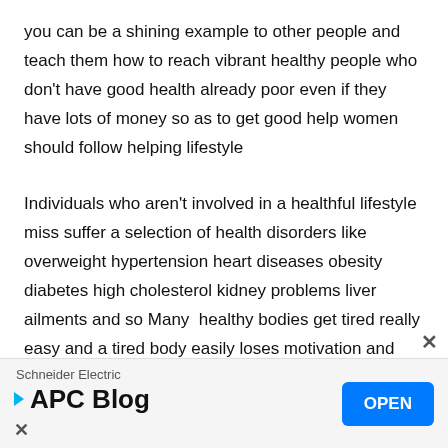you can be a shining example to other people and teach them how to reach vibrant healthy people who don't have good health already poor even if they have lots of money so as to get good help women should follow helping lifestyle
Individuals who aren't involved in a healthful lifestyle miss suffer a selection of health disorders like overweight hypertension heart diseases obesity diabetes high cholesterol kidney problems liver ailments and so Many  healthy bodies get tired really easy and a tired body easily loses motivation and self-confidence health is an excellent blessing of God good health is a matter of great concern to maintain good health
Schneider Electric
APC Blog
OPEN